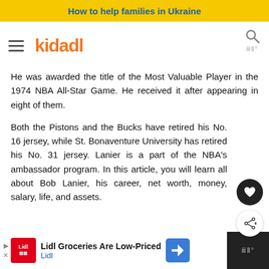How to help families in Ukraine
kidadl
He was awarded the title of the Most Valuable Player in the 1974 NBA All-Star Game. He received it after appearing in eight of them.
Both the Pistons and the Bucks have retired his No. 16 jersey, while St. Bonaventure University has retired his No. 31 jersey. Lanier is a part of the NBA's ambassador program. In this article, you will learn all about Bob Lanier, his career, net worth, money, salary, life, and assets.
Lidl Groceries Are Low-Priced Lidl